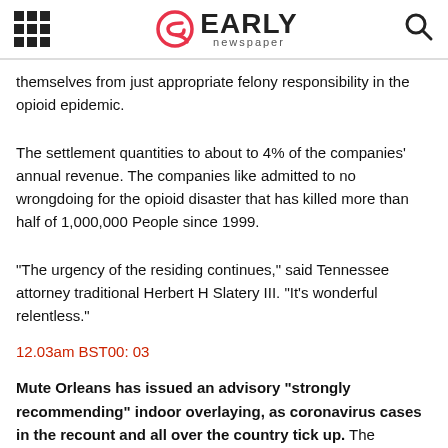EARLY newspaper
themselves from just appropriate felony responsibility in the opioid epidemic.
The settlement quantities to about to 4% of the companies' annual revenue. The companies like admitted to no wrongdoing for the opioid disaster that has killed more than half of 1,000,000 People since 1999.
“The urgency of the residing continues,” said Tennessee attorney traditional Herbert H Slatery III. “It’s wonderful relentless.”
12.03am BST00: 03
Mute Orleans has issued an advisory “strongly recommending” indoor overlaying, as coronavirus cases in the recount and all over the country tick up. The preference of novel cases reported in Louisiana today modified into the third-perfect figure the recount had